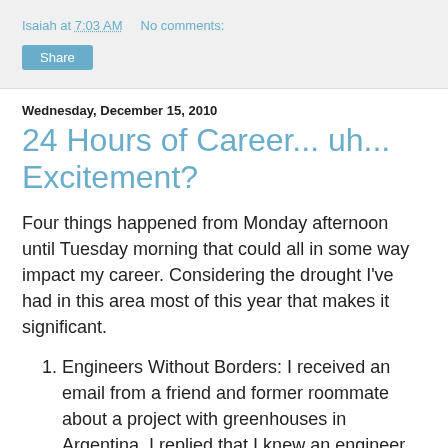Isaiah at 7:03 AM    No comments:
Share
Wednesday, December 15, 2010
24 Hours of Career... uh... Excitement?
Four things happened from Monday afternoon until Tuesday morning that could all in some way impact my career. Considering the drought I've had in this area most of this year that makes it significant.
Engineers Without Borders: I received an email from a friend and former roommate about a project with greenhouses in Argentina. I replied that I knew an engineer who spoke Spanish and had experience with greenhouses. He wanted that person's contact info and I revealed that I was such a person. A slew of emails later, perhaps I can help.